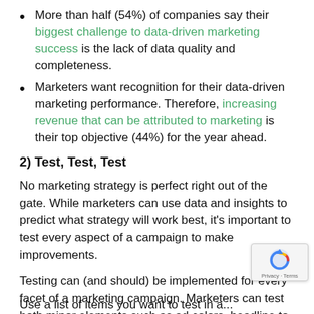More than half (54%) of companies say their biggest challenge to data-driven marketing success is the lack of data quality and completeness.
Marketers want recognition for their data-driven marketing performance. Therefore, increasing revenue that can be attributed to marketing is their top objective (44%) for the year ahead.
2) Test, Test, Test
No marketing strategy is perfect right out of the gate. While marketers can use data and insights to predict what strategy will work best, it's important to test every aspect of a campaign to make improvements.
Testing can (and should) be implemented for every facet of a marketing campaign. Marketers can test both minor elements such as ad colors, headline to specific offers such as free trials vs. paid.
Use a list of items you want to test in a...